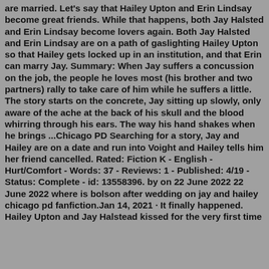are married. Let's say that Hailey Upton and Erin Lindsay become great friends. While that happens, both Jay Halsted and Erin Lindsay become lovers again. Both Jay Halsted and Erin Lindsay are on a path of gaslighting Hailey Upton so that Hailey gets locked up in an institution, and that Erin can marry Jay. Summary: When Jay suffers a concussion on the job, the people he loves most (his brother and two partners) rally to take care of him while he suffers a little. The story starts on the concrete, Jay sitting up slowly, only aware of the ache at the back of his skull and the blood whirring through his ears. The way his hand shakes when he brings ...Chicago PD Searching for a story, Jay and Hailey are on a date and run into Voight and Hailey tells him her friend cancelled. Rated: Fiction K - English - Hurt/Comfort - Words: 37 - Reviews: 1 - Published: 4/19 - Status: Complete - id: 13558396. by on 22 June 2022 22 June 2022 where is bolson after wedding on jay and hailey chicago pd fanfiction.Jan 14, 2021 · It finally happened. Hailey Upton and Jay Halstead kissed for the very first time